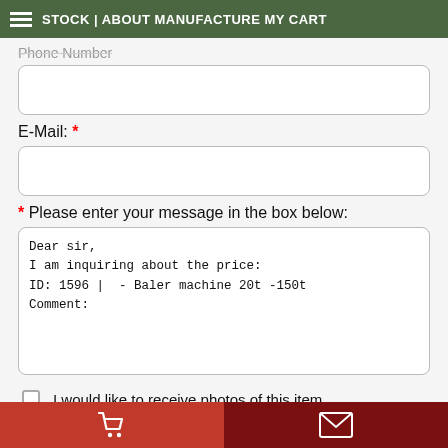STOCK | ABOUT MANUFACTURE MY CART
Phone Number
E-Mail: *
* Please enter your message in the box below:
Dear sir,
I am inquiring about the price:
ID: 1596 |  - Baler machine 20t -150t
Comment:
I would like to receive photos of this item
SEND ENQUIRY